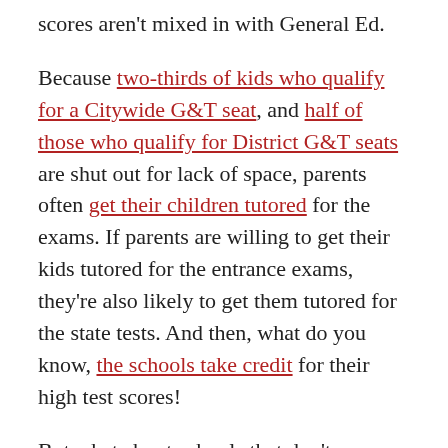scores aren't mixed in with General Ed.
Because two-thirds of kids who qualify for a Citywide G&T seat, and half of those who qualify for District G&T seats are shut out for lack of space, parents often get their children tutored for the exams. If parents are willing to get their kids tutored for the entrance exams, they're also likely to get them tutored for the state tests. And then, what do you know, the schools take credit for their high test scores!
But what about schools that don't screen for admissions? 2018's #3, PS 172 The Beacon School for Excellence, is a neighborhood school in Brooklyn. The majority of their students are Hispanic (76 percent), a fourth of whom don't speak English at home. Eighty-seven percent are Free Lunch. They're exactly the demographic that Mayor Bill de Blasio and Chancellor Richard Carranza have so